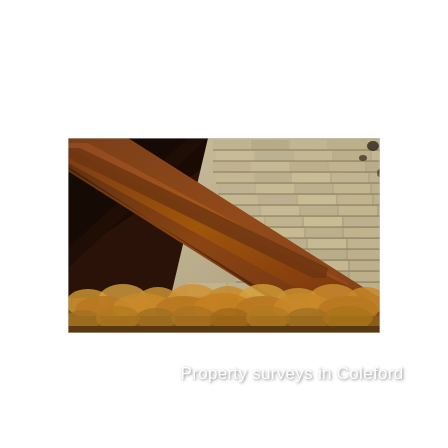[Figure (photo): Interior attic photo showing wooden roof rafters/beams diagonal from upper-left to lower-right, exposed brick gable wall in the center-right, and yellow/orange mineral wool insulation along the bottom floor. Text overlay reads 'Property surveys in Coleford'.]